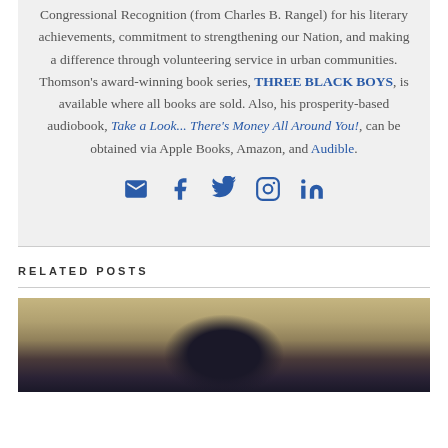Congressional Recognition (from Charles B. Rangel) for his literary achievements, commitment to strengthening our Nation, and making a difference through volunteering service in urban communities. Thomson's award-winning book series, THREE BLACK BOYS, is available where all books are sold. Also, his prosperity-based audiobook, Take a Look... There's Money All Around You!, can be obtained via Apple Books, Amazon, and Audible.
[Figure (other): Social media icons: email, Facebook, Twitter, Instagram, LinkedIn]
RELATED POSTS
[Figure (photo): Partially visible photograph of a person, cropped at bottom of page]